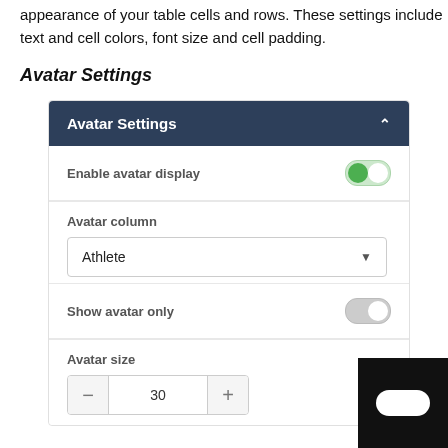appearance of your table cells and rows. These settings include text and cell colors, font size and cell padding.
Avatar Settings
[Figure (screenshot): Avatar Settings panel showing: a dark navy header bar labeled 'Avatar Settings' with a caret/chevron up icon; a toggle row 'Enable avatar display' with a green toggle switched on; a 'Avatar column' label with a dropdown showing 'Athlete'; a 'Show avatar only' toggle (off/grey); an 'Avatar size' stepper control showing '30' with minus and plus buttons.]